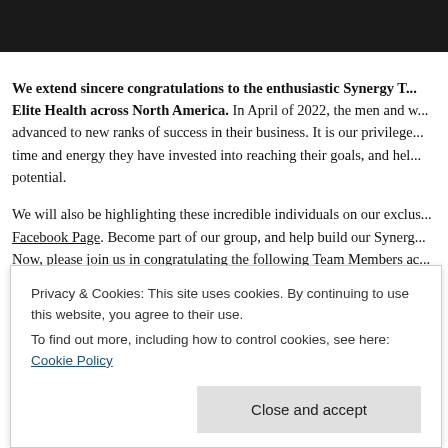[Figure (photo): Dark photograph banner at top of page, cropped]
We extend sincere congratulations to the enthusiastic Synergy T... Elite Health across North America. In April of 2022, the men and w... advanced to new ranks of success in their business. It is our privilege... time and energy they have invested into reaching their goals, and hel... potential.
We will also be highlighting these incredible individuals on our exclus... Facebook Page. Become part of our group, and help build our Synerg... Now, please join us in congratulating the following Team Members ac...
RANK ADVANCEMENTS
Team Manager
Privacy & Cookies: This site uses cookies. By continuing to use this website, you agree to their use.
To find out more, including how to control cookies, see here: Cookie Policy
Close and accept